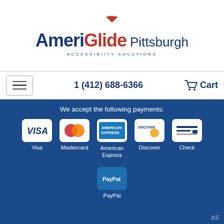[Figure (logo): AmeriGlide Pittsburgh Accessibility Solutions logo with red swoosh accent]
1 (412) 688-6366 | Cart
We accept the following payments:
[Figure (infographic): Payment method icons: Visa, Mastercard, American Express, Discover, Check, PayPal]